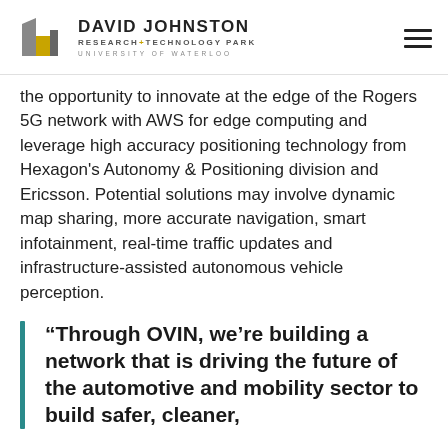DAVID JOHNSTON RESEARCH+TECHNOLOGY PARK UNIVERSITY OF WATERLOO
the opportunity to innovate at the edge of the Rogers 5G network with AWS for edge computing and leverage high accuracy positioning technology from Hexagon's Autonomy & Positioning division and Ericsson. Potential solutions may involve dynamic map sharing, more accurate navigation, smart infotainment, real-time traffic updates and infrastructure-assisted autonomous vehicle perception.
“Through OVIN, we’re building a network that is driving the future of the automotive and mobility sector to build safer, cleaner,